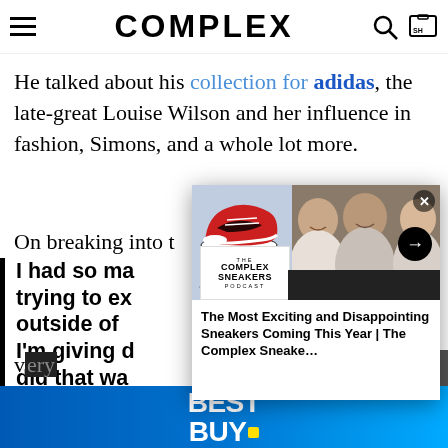COMPLEX
He talked about his collection for adidas, the late-great Louise Wilson and her influence in fashion, Simons, and a whole lot more.
On breaking into t
I had so ma trying to ex outside of I'm giving d did that wa I'm just ge down. And not just by the company
[Figure (screenshot): Complex Sneakers Podcast popup showing sneakers and podcast hosts, with title 'The Most Exciting and Disappointing Sneakers Coming This Year | The Complex Sneake...']
[Figure (logo): Best Buy advertisement banner at bottom of page]